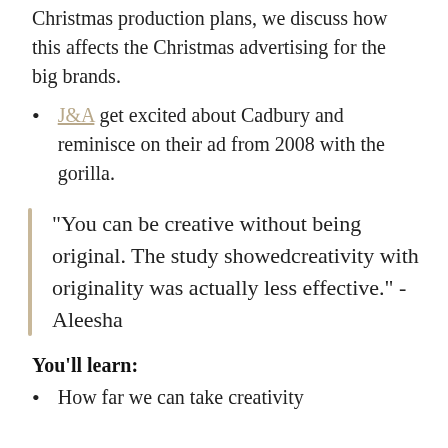Christmas production plans, we discuss how this affects the Christmas advertising for the big brands.
J&A get excited about Cadbury and reminisce on their ad from 2008 with the gorilla.
"You can be creative without being original. The study showedcreativity with originality was actually less effective." - Aleesha
You'll learn:
How far we can take creativity